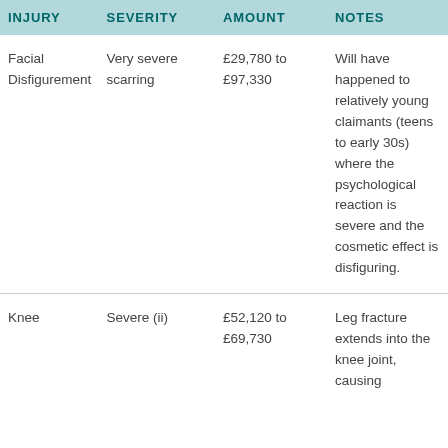| INJURY | SEVERITY | AMOUNT | NOTES |
| --- | --- | --- | --- |
| Facial Disfigurement | Very severe scarring | £29,780 to £97,330 | Will have happened to relatively young claimants (teens to early 30s) where the psychological reaction is severe and the cosmetic effect is disfiguring. |
| Knee | Severe (ii) | £52,120 to £69,730 | Leg fracture extends into the knee joint, causing |